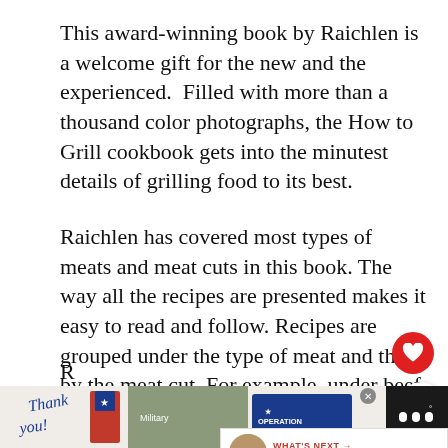This award-winning book by Raichlen is a welcome gift for the new and the experienced.  Filled with more than a thousand color photographs, the How to Grill cookbook gets into the minutest details of grilling food to its best.
Raichlen has covered most types of meats and meat cuts in this book. The way all the recipes are presented makes it easy to read and follow. Recipes are grouped under the type of meat and then by the meat cut. For example, under beef and veal sectic... details how to smoke brisket, and the... grill T-bone steaks.
[Figure (other): Advertisement banner at bottom: 'Thank you!' text with American flag and military soldier imagery, Operation Gratitude logo, and a close (X) button]